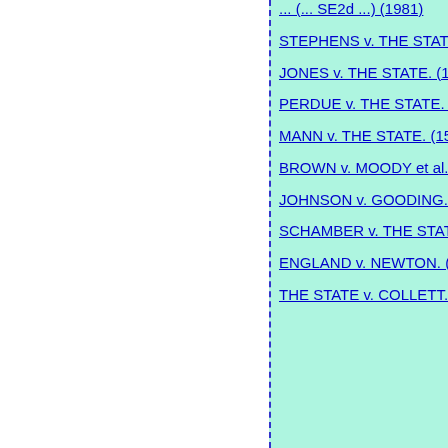... (... SE2d ...) (1981)
STEPHENS v. THE STATE. (245 Ga. 835) (268 SE2d 330) (1980)
JONES v. THE STATE. (155 Ga. App. 382) (271 SE2d 30) (1980)
PERDUE v. THE STATE. (155 Ga. App. 802) (272 SE2d 766) (1980)
MANN v. THE STATE. (154 Ga. App. 677) (269 SE2d 863) (1980)
BROWN v. MOODY et al. (243 Ga. 473) (254 SE2d 853) (1979)
JOHNSON v. GOODING. (242 Ga. 793) (251 SE2d 534) (1979)
SCHAMBER v. THE STATE. (152 Ga. App. 196) (262 SE2d 533) (1979)
ENGLAND v. NEWTON. (233 SE2d 787) (238 Ga. 534) (1977)
THE STATE v. COLLETT. (208 SE2d 472) (232 Ga. 668) (1974)